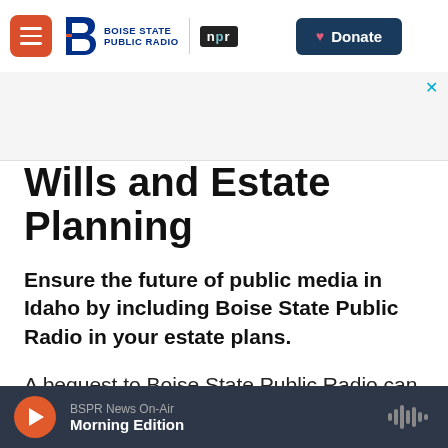Boise State Public Radio | NPR | Donate
Wills and Estate Planning
Ensure the future of public media in Idaho by including Boise State Public Radio in your estate plans.
A bequest to Boise State Public Radio can result in an estate tax charitable deduction,
BSPR News On-Air | Morning Edition